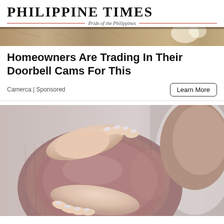PHILIPPINE TIMES — Pride of the Philippines
[Figure (photo): Partial top image showing stone/rock texture background with a white round object, cropped banner image]
Homeowners Are Trading In Their Doorbell Cams For This
Camerca | Sponsored
Learn More
[Figure (photo): Close-up photo of a pregnant woman in a mauve/dusty rose ribbed top, hands cradling her pregnant belly with white painted nails, photographed against a light grey background]